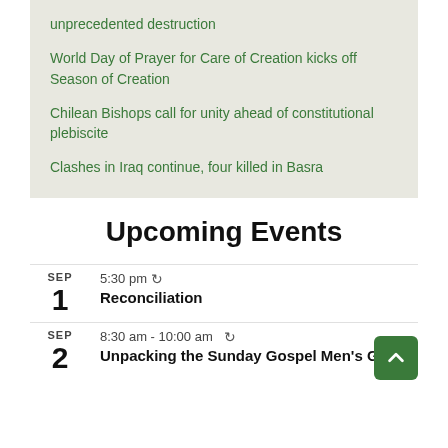unprecedented destruction
World Day of Prayer for Care of Creation kicks off Season of Creation
Chilean Bishops call for unity ahead of constitutional plebiscite
Clashes in Iraq continue, four killed in Basra
Upcoming Events
SEP 1 — 5:30 pm — Reconciliation
SEP 2 — 8:30 am - 10:00 am — Unpacking the Sunday Gospel Men's Group